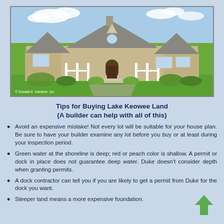[Figure (photo): Exterior rendering of a craftsman-style single-story house with steep gabled roofs, covered front porch, beige siding, and landscaped yard. Copyright Donald A. Gardner, Inc.]
Tips for Buying Lake Keowee Land
(A builder can help with all of this)
Avoid an expensive mistake! Not every lot will be suitable for your house plan. Be sure to have your builder examine any lot before you buy or at least during your inspection period.
Green water at the shoreline is deep; red or peach color is shallow. A permit or dock in place does not guarantee deep water. Duke doesn't consider depth when granting permits.
A dock contractor can tell you if you are likely to get a permit from Duke for the dock you want.
Steeper land means a more expensive foundation.
A report from the local county assessor's map will fit. Some risk